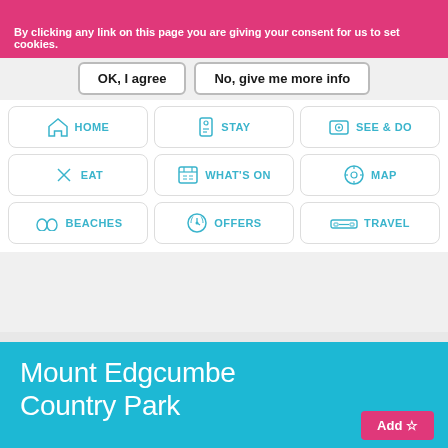By clicking any link on this page you are giving your consent for us to set cookies.
OK, I agree
No, give me more info
[Figure (screenshot): Navigation grid with 9 menu items: HOME, STAY, SEE & DO, EAT, WHAT'S ON, MAP, BEACHES, OFFERS, TRAVEL - each with a teal icon]
Mount Edgcumbe Country Park
Add ☆